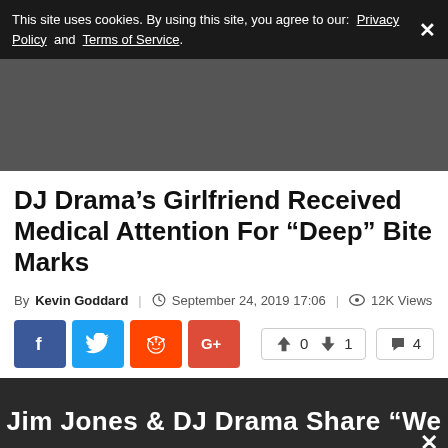This site uses cookies. By using this site, you agree to our: Privacy Policy and Terms of Service.
[Figure (other): Gray advertisement banner placeholder]
DJ Drama’s Girlfriend Received Medical Attention For "Deep" Bite Marks
By Kevin Goddard | September 24, 2019 17:06 | 12K Views
[Figure (infographic): Social share buttons: Facebook, Twitter, Reddit, Google+; vote counts: 0 upvotes, 1 downvote, 4 comments]
[Figure (screenshot): Partially visible dark video player bar with text: Jim Jones & DJ Drama Share "We]